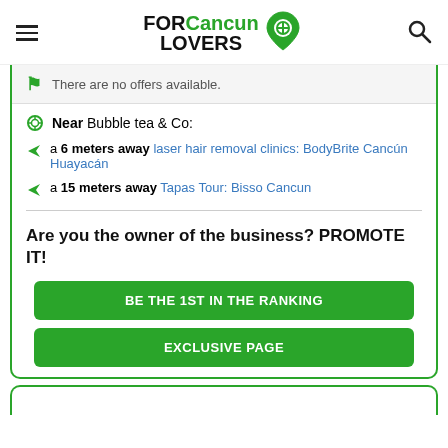FOR Cancun LOVERS
There are no offers available.
Near Bubble tea & Co:
a 6 meters away laser hair removal clinics: BodyBrite Cancún Huayacán
a 15 meters away Tapas Tour: Bisso Cancun
Are you the owner of the business? PROMOTE IT!
BE THE 1ST IN THE RANKING
EXCLUSIVE PAGE